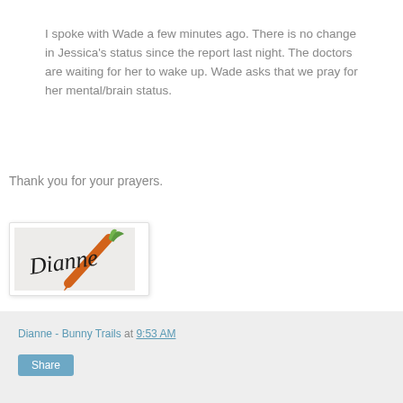I spoke with Wade a few minutes ago. There is no change in Jessica's status since the report last night. The doctors are waiting for her to wake up. Wade asks that we pray for her mental/brain status.
Thank you for your prayers.
[Figure (illustration): Handwritten signature reading 'Dianne' with a carrot illustration on a light gray background, displayed in a white card with shadow border.]
Dianne - Bunny Trails at 9:53 AM  Share